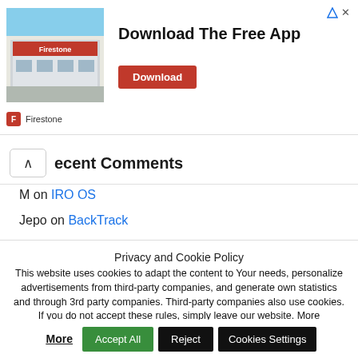[Figure (infographic): Firestone advertisement banner showing a store building photo on the left, 'Download The Free App' text in bold, a red 'Download' button, and the Firestone brand name at the bottom left. A close/arrow icon is at the top right.]
Recent Comments
M on IRO OS
Jepo on BackTrack
Privacy and Cookie Policy
This website uses cookies to adapt the content to Your needs, personalize advertisements from third-party companies, and generate own statistics and through 3rd party companies. Third-party companies also use cookies. If you do not accept these rules, simply leave our website. More information about cookies and the privacy policy can be found by clicking on the Read More
Accept All | Reject | Cookies Settings